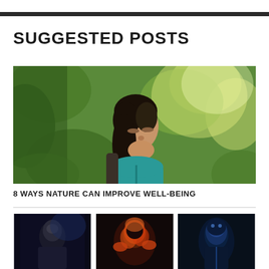SUGGESTED POSTS
[Figure (photo): Woman with dark hair and teal jacket, eyes closed, face tilted upward, surrounded by lush green foliage in nature]
8 WAYS NATURE CAN IMPROVE WELL-BEING
[Figure (photo): Three small thumbnail photos of dark/sci-fi themed imagery at the bottom of the page]